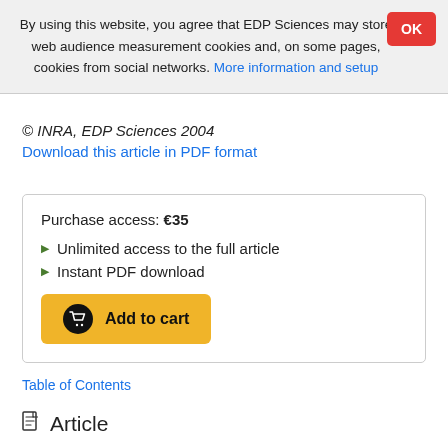By using this website, you agree that EDP Sciences may store web audience measurement cookies and, on some pages, cookies from social networks. More information and setup
© INRA, EDP Sciences 2004
Download this article in PDF format
Purchase access: €35
▶ Unlimited access to the full article
▶ Instant PDF download
Add to cart
Table of Contents
Article